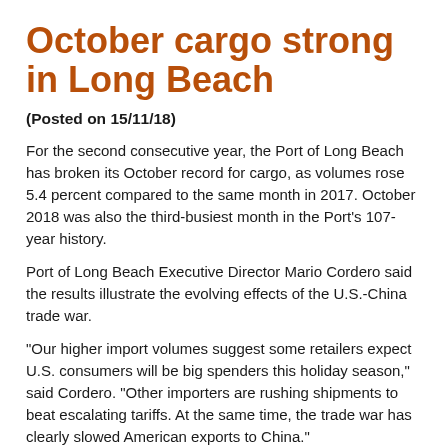October cargo strong in Long Beach
(Posted on 15/11/18)
For the second consecutive year, the Port of Long Beach has broken its October record for cargo, as volumes rose 5.4 percent compared to the same month in 2017. October 2018 was also the third-busiest month in the Port's 107-year history.
Port of Long Beach Executive Director Mario Cordero said the results illustrate the evolving effects of the U.S.-China trade war.
“Our higher import volumes suggest some retailers expect U.S. consumers will be big spenders this holiday season,” said Cordero. “Other importers are rushing shipments to beat escalating tariffs. At the same time, the trade war has clearly slowed American exports to China.”
Through October, the Port of Long Beach has moved 6,727,542 TEUs, which is 7.9 percent higher than the matching period during 2017, when the Port broke its annual mark for cargo volume.